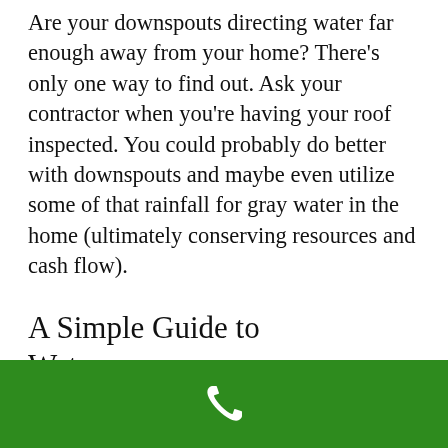Are your downspouts directing water far enough away from your home? There's only one way to find out. Ask your contractor when you're having your roof inspected. You could probably do better with downspouts and maybe even utilize some of that rainfall for gray water in the home (ultimately conserving resources and cash flow).
A Simple Guide to Waterproofing...
[Figure (other): Green bar at bottom of page with white phone/call icon]